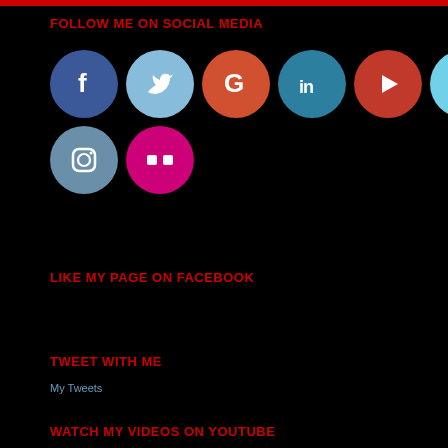FOLLOW ME ON SOCIAL MEDIA
[Figure (illustration): Row of social media icon circles: Facebook (dark blue), Twitter (light blue), Google+ (red-orange), LinkedIn (teal/blue), YouTube (red), Vimeo (light blue). Second row: Instagram (steel blue), Flickr (magenta/pink).]
LIKE MY PAGE ON FACEBOOK
TWEET WITH ME
My Tweets
WATCH MY VIDEOS ON YOUTUBE